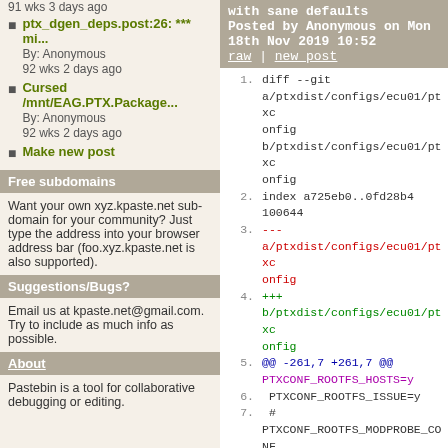91 wks 3 days ago
ptx_dgen_deps.post:26: *** mi...
By: Anonymous
92 wks 2 days ago
Cursed /mnt/EAG.PTX.Package...
By: Anonymous
92 wks 2 days ago
Make new post
Free subdomains
Want your own xyz.kpaste.net sub-domain for your community? Just type the address into your browser address bar (foo.xyz.kpaste.net is also supported).
Suggestions/Bugs?
Email us at kpaste.net@gmail.com. Try to include as much info as possible.
About
Pastebin is a tool for collaborative debugging or editing.
with sane defaults
Posted by Anonymous on Mon 18th Nov 2019 10:52
raw | new post
1.  diff --git a/ptxdist/configs/ecu01/ptxconfig b/ptxdist/configs/ecu01/ptxconfig
2.  index a725eb0..0fd28b4 100644
3.  --- a/ptxdist/configs/ecu01/ptxconfig
4.  +++ b/ptxdist/configs/ecu01/ptxconfig
5.  @@ -261,7 +261,7 @@ PTXCONF_ROOTFS_HOSTS=y
6.   PTXCONF_ROOTFS_ISSUE=y
7.  # PTXCONF_ROOTFS_MODPROBE_CONF is not set
8.   PTXCONF_ROOTFS_NSSWITCH_CONF=y
9.  -PTXCONF_ROOTFS_PROFILE=y
10. +# PTXCONF_ROOTFS_PROFILE is not set
11.  PTXCONF_ROOTFS_PROTOCOLS=y
12.  PTXCONF_ROOTFS_RESOLV_FILE=y
13. # PTXCONF_ROOTFS_RESOLV_LINK is not set